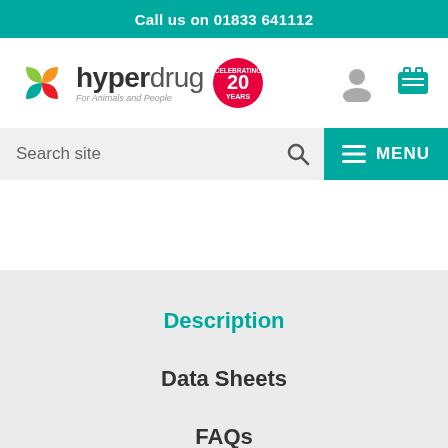Call us on 01833 641112
[Figure (logo): Hyperdrug logo with coloured cross icon and '20 Years Celebrating' badge, tagline 'For Animals and People']
Search site
Description
Data Sheets
FAQs
Reviews